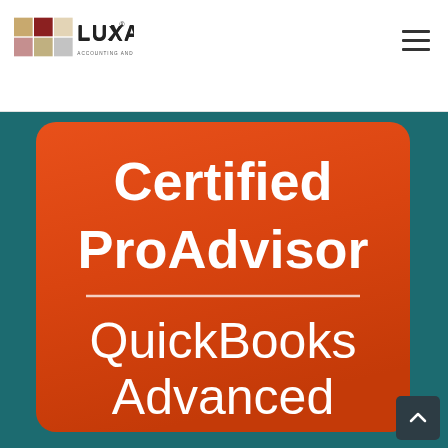LUXA ACCOUNTING AND HR SERVICES
[Figure (logo): LUXA Accounting and HR Services logo with colored grid squares and text, plus hamburger menu icon in top right]
[Figure (illustration): QuickBooks Certified ProAdvisor - QuickBooks Advanced badge. Red/orange rounded rectangle badge on teal background with white bold text reading 'Certified ProAdvisor' above a horizontal divider line and 'QuickBooks Advanced' below.]